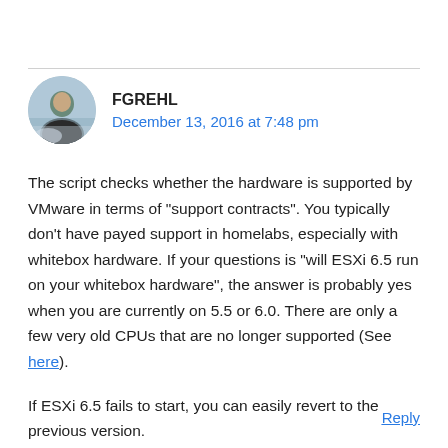[Figure (photo): Circular avatar photo of user FGREHL showing a person outdoors in a snowy/mountainous landscape]
FGREHL
December 13, 2016 at 7:48 pm
The script checks whether the hardware is supported by VMware in terms of "support contracts". You typically don't have payed support in homelabs, especially with whitebox hardware. If your questions is "will ESXi 6.5 run on your whitebox hardware", the answer is probably yes when you are currently on 5.5 or 6.0. There are only a few very old CPUs that are no longer supported (See here).
If ESXi 6.5 fails to start, you can easily revert to the previous version.
Reply